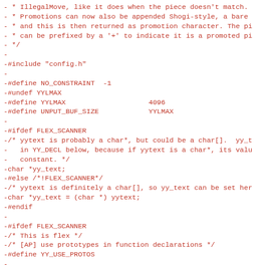- * IllegalMove, like it does when the piece doesn't match.
- * Promotions can now also be appended Shogi-style, a bare
- * and this is then returned as promotion character. The pi
- * can be prefixed by a '+' to indicate it is a promoted pi
- */
-
-#include "config.h"
-
-#define NO_CONSTRAINT  -1
-#undef YYLMAX
-#define YYLMAX                    4096
-#define UNPUT_BUF_SIZE            YYLMAX
-
-#ifdef FLEX_SCANNER
-/* yytext is probably a char*, but could be a char[].  yy_t
-   in YY_DECL below, because if yytext is a char*, its valu
-   constant. */
-char *yy_text;
-#else /*!FLEX_SCANNER*/
-/* yytext is definitely a char[], so yy_text can be set her
-char *yy_text = (char *) yytext;
-#endif
-
-#ifdef FLEX_SCANNER
-/* This is flex */
-/* [AP] use prototypes in function declarations */
-#define YY_USE_PROTOS
-
-#ifdef YY_USE_PROTOS
-#define YY_PROTO(proto) proto
-#else
-#define YY_PROTO(proto) ()
-#endif